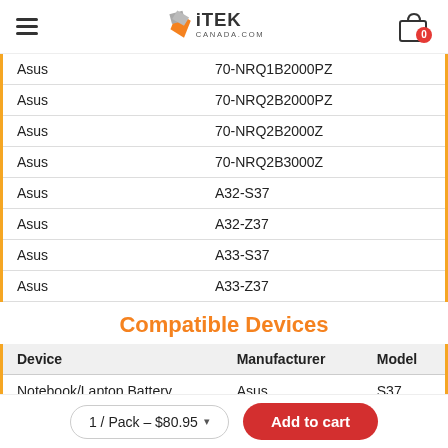iTEK CANADA.COM — hamburger menu, logo, cart (0)
| Brand | Model Number |
| --- | --- |
| Asus | 70-NRQ1B2000PZ |
| Asus | 70-NRQ2B2000PZ |
| Asus | 70-NRQ2B2000Z |
| Asus | 70-NRQ2B3000Z |
| Asus | A32-S37 |
| Asus | A32-Z37 |
| Asus | A33-S37 |
| Asus | A33-Z37 |
Compatible Devices
| Device | Manufacturer | Model |
| --- | --- | --- |
| Notebook/Laptop Battery | Asus | S37 |
| Notebook/Laptop Battery | Asus | S37e |
1 / Pack – $80.95   Add to cart